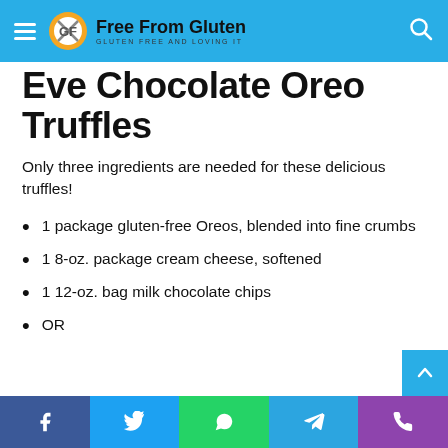Free From Gluten — Gluten Free and Loving It
Eve Chocolate Oreo Truffles
Only three ingredients are needed for these delicious truffles!
1 package gluten-free Oreos, blended into fine crumbs
1 8-oz. package cream cheese, softened
1 12-oz. bag milk chocolate chips
OR